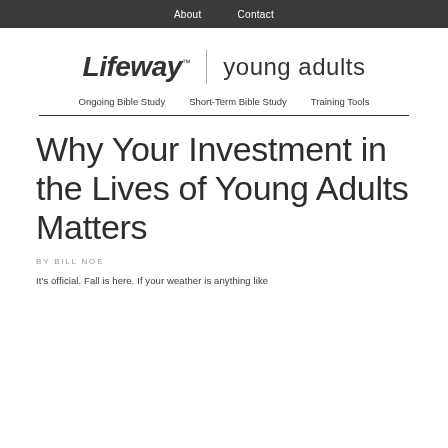About   Contact
[Figure (logo): Lifeway young adults logo with italic bold Lifeway text and light-weight 'young adults' text separated by a vertical line]
Ongoing Bible Study   Short-Term Bible Study   Training Tools
Why Your Investment in the Lives of Young Adults Matters
BY BILL NOE
It's official. Fall is here. If your weather is anything like